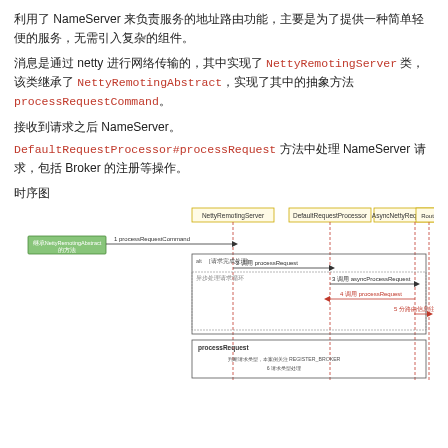利用了 NameServer 来负责服务的地址路由功能，主要是为了提供一种简单轻便的服务，无需引入复杂的组件。
消息是通过 netty 进行网络传输的，其中实现了 NettyRemotingServer 类，该类继承了 NettyRemotingAbstract，实现了其中的抽象方法 processRequestCommand。
接收到请求之后 NameServer。
DefaultRequestProcessor#processRequest 方法中处理 NameServer 请求，包括 Broker 的注册等操作。
时序图
[Figure (engineering-diagram): Sequence diagram showing interaction between NettyRemotingServer, DefaultRequestProcessor, AsyncNettyRequestProcessor, and RouteInfoManager. Steps: 1. processRequestCommand, 2. 调用 processRequest, 3. 调用 asyncProcessRequest, 4. 调用 processRequest, 5. 分路由信息注册. Includes processRequest box at bottom.]